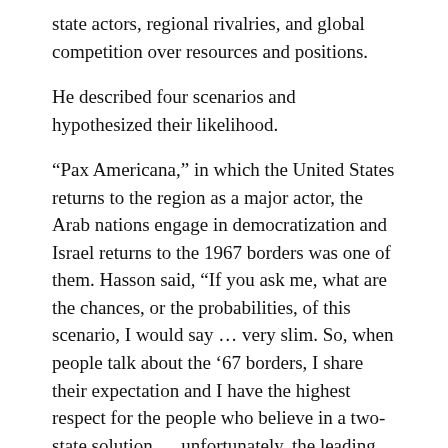state actors, regional rivalries, and global competition over resources and positions.
He described four scenarios and hypothesized their likelihood.
“Pax Americana,” in which the United States returns to the region as a major actor, the Arab nations engage in democratization and Israel returns to the 1967 borders was one of them. Hasson said, “If you ask me, what are the chances, or the probabilities, of this scenario, I would say … very slim. So, when people talk about the ’67 borders, I share their expectation and I have the highest respect for the people who believe in a two-state solution … unfortunately, the leading driving forces are not taking us in this direction….”
Hasson described both the regional hegemony of